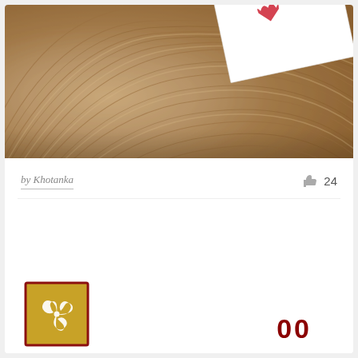[Figure (photo): Photo of swirling wood grain texture with a white card/paper partially visible in the upper right corner, with a small red decorative element on the card]
by Khotanka
24
[Figure (logo): Square logo with dark red border, gold/yellow background with white swirl/triskelion design]